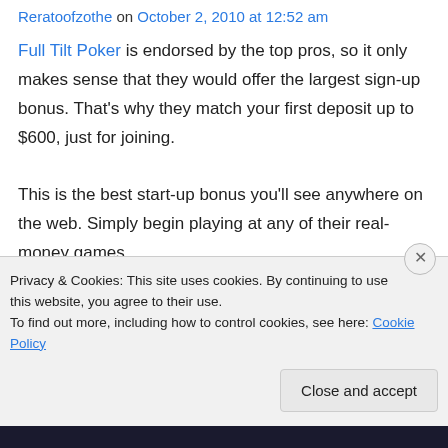Reratoofzothe on October 2, 2010 at 12:52 am
Full Tilt Poker is endorsed by the top pros, so it only makes sense that they would offer the largest sign-up bonus. That's why they match your first deposit up to $600, just for joining.

This is the best start-up bonus you'll see anywhere on the web. Simply begin playing at any of their real-money games, Sit & Go's, or tournaments, and you will begin
Privacy & Cookies: This site uses cookies. By continuing to use this website, you agree to their use.
To find out more, including how to control cookies, see here: Cookie Policy
Close and accept